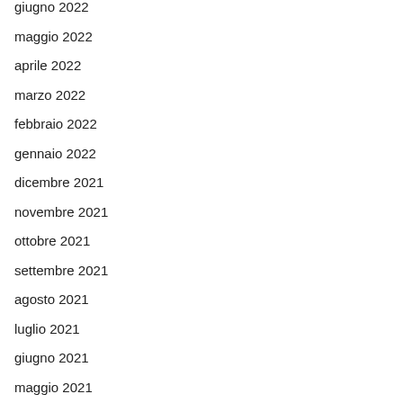giugno 2022
maggio 2022
aprile 2022
marzo 2022
febbraio 2022
gennaio 2022
dicembre 2021
novembre 2021
ottobre 2021
settembre 2021
agosto 2021
luglio 2021
giugno 2021
maggio 2021